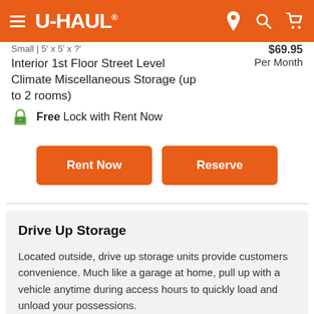U-HAUL
Small | 5' x 5' x ?'
$69.95
Interior 1st Floor Street Level Climate Miscellaneous Storage (up to 2 rooms)
Per Month
Free Lock with Rent Now
Rent Now
Reserve
Drive Up Storage
Located outside, drive up storage units provide customers convenience. Much like a garage at home, pull up with a vehicle anytime during access hours to quickly load and unload your possessions.